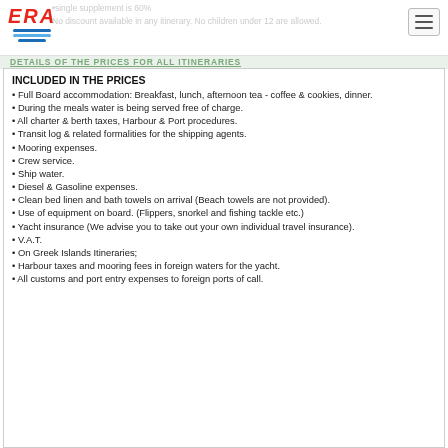ERA logo and navigation
single supplement is 60%
No discount available in any itinerary. No children under 12 are allowed.
DETAILS OF THE PRICES FOR ALL ITINERARIES
INCLUDED IN THE PRICES
Full Board accommodation: Breakfast, lunch, afternoon tea - coffee & cookies, dinner.
During the meals water is being served free of charge.
All charter & berth taxes, Harbour & Port procedures.
Transit log & related formalities for the shipping agents.
Mooring expenses.
Crew service.
Ship water.
Diesel & Gasoline expenses.
Clean bed linen and bath towels on arrival (Beach towels are not provided).
Use of equipment on board. (Flippers, snorkel and fishing tackle etc.)
Yacht insurance (We advise you to take out your own individual travel insurance).
V.A.T.
On Greek Islands Itineraries;
Harbour taxes and mooring fees in foreign waters for the yacht.
All customs and port entry expenses to foreign ports of call.